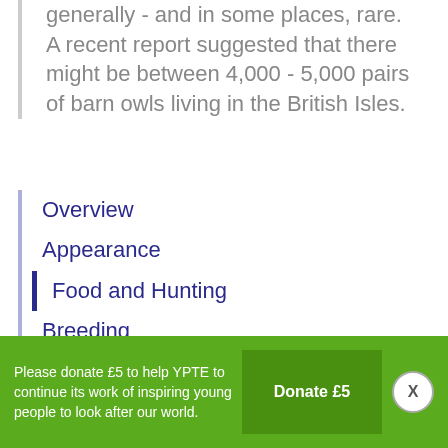generally - and in some places, rare. A recent report suggested that there might be between 4,000 - 5,000 pairs of barn owls living in the British Isles.
Overview
Appearance
Food and Hunting
Breeding
Threats to the Barn Owl
Useful Websites
Credits
Please donate £5 to help YPTE to continue its work of inspiring young people to look after our world.